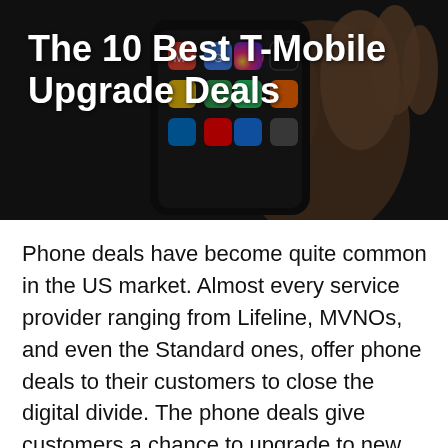[Figure (photo): A hand holding a smartphone displaying colorful app icons, shown against a dark background. The photo serves as the hero image behind the article title.]
The 10 Best T-Mobile Upgrade Deals
Phone deals have become quite common in the US market. Almost every service provider ranging from Lifeline, MVNOs, and even the Standard ones, offer phone deals to their customers to close the digital divide. The phone deals give customers a chance to upgrade to new phones with excellent features compared to those they were using. The T-Mobile upgrade deals would be